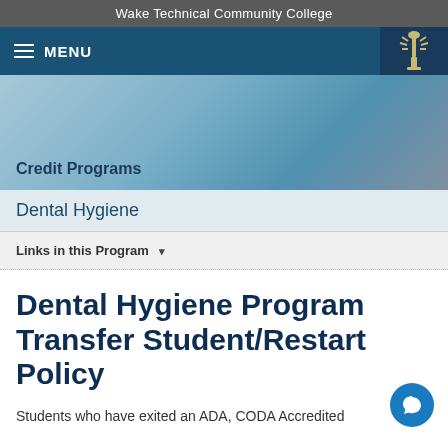Wake Technical Community College
Credit Programs
Dental Hygiene
Links in this Program ▾
Dental Hygiene Program Transfer Student/Restart Policy
Students who have exited an ADA, CODA Accredited